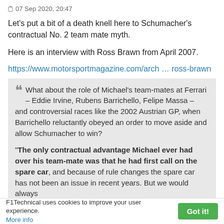07 Sep 2020, 20:47
Let's put a bit of a death knell here to Schumacher's contractual No. 2 team mate myth.
Here is an interview with Ross Brawn from April 2007.
https://www.motorsportmagazine.com/arch … ross-brawn
❝ What about the role of Michael's team-mates at Ferrari – Eddie Irvine, Rubens Barrichello, Felipe Massa – and controversial races like the 2002 Austrian GP, when Barrichello reluctantly obeyed an order to move aside and allow Schumacher to win?

"The only contractual advantage Michael ever had over his team-mate was that he had first call on the spare car, and because of rule changes the spare car has not been an issue in recent years. But we would always
F1Technical uses cookies to improve your user experience. More info  Got it!